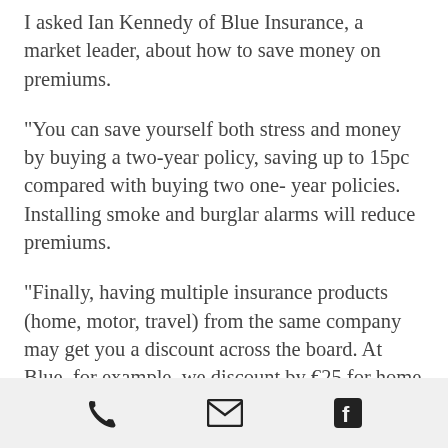I asked Ian Kennedy of Blue Insurance, a market leader, about how to save money on premiums.
"You can save yourself both stress and money by buying a two-year policy, saving up to 15pc compared with buying two one- year policies. Installing smoke and burglar alarms will reduce premiums.
"Finally, having multiple insurance products (home, motor, travel) from the same company may get you a discount across the board. At Blue, for example, we discount by €25 for home and motor policies together."
Phone | Email | Facebook icons